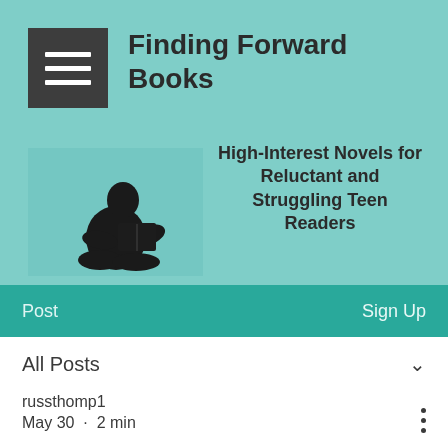[Figure (logo): Dark gray square with three white horizontal lines (hamburger menu icon)]
Finding Forward Books
[Figure (photo): Silhouette of a person sitting and reading a book against a teal background]
High-Interest Novels for Reluctant and Struggling Teen Readers
Post   Sign Up
All Posts
russthomp1
May 30  ·  2 min